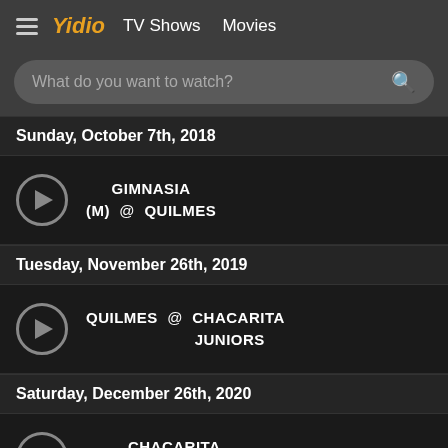Yidio  TV Shows  Movies
What do you want to watch?
Sunday, October 7th, 2018
GIMNASIA (M) @ QUILMES
Tuesday, November 26th, 2019
QUILMES @ CHACARITA JUNIORS
Saturday, December 26th, 2020
CHACARITA JUNIORS @ QUILMES